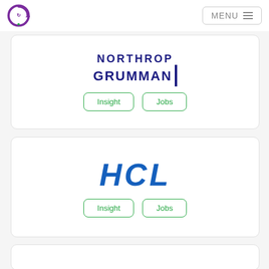MENU
[Figure (logo): Northrop Grumman logo with bold navy text and vertical bar]
Insight
Jobs
[Figure (logo): HCL logo in bold italic blue text]
Insight
Jobs